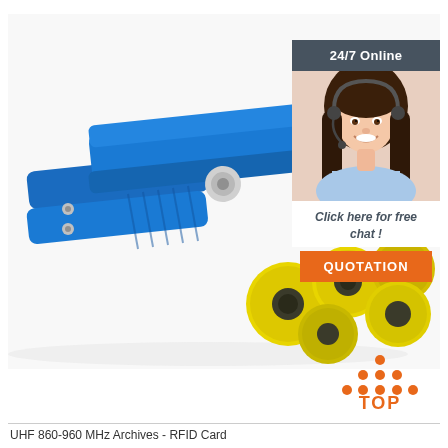[Figure (photo): Blue RFID ear tag applicator tool with yellow RFID ear tags on white background. The tool is a blue handheld plier-like device. Several yellow circular RFID tags with dark centers are shown.]
[Figure (photo): Customer service representative sidebar widget with dark header '24/7 Online', photo of smiling woman with headset, italic text 'Click here for free chat!', and orange QUOTATION button.]
[Figure (logo): TOP logo with orange triangle dots forming roof shape above the word TOP in orange text.]
UHF 860-960 MHz Archives - RFID Card